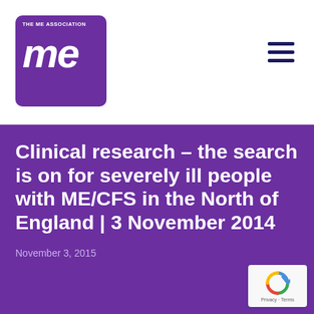[Figure (logo): The ME Association logo — purple rounded square with 'THE ME ASSOCIATION' text at top and large italic 'me' text below in white]
Clinical research – the search is on for severely ill people with ME/CFS in the North of England | 3 November 2014
November 3, 2015